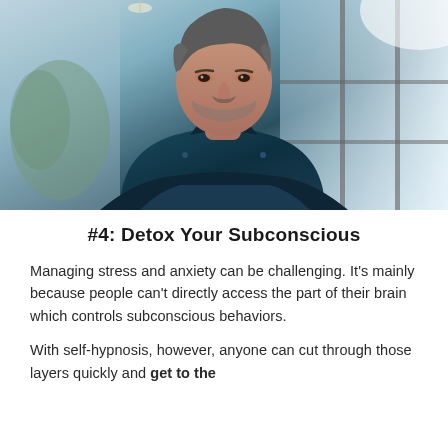[Figure (photo): A middle-aged man with salt-and-pepper hair and a beard wearing a dark teal button-up shirt, standing in an office or corridor with large windows and greenery in the background, looking upward thoughtfully.]
#4: Detox Your Subconscious
Managing stress and anxiety can be challenging. It's mainly because people can't directly access the part of their brain which controls subconscious behaviors.
With self-hypnosis, however, anyone can cut through those layers quickly and get to the